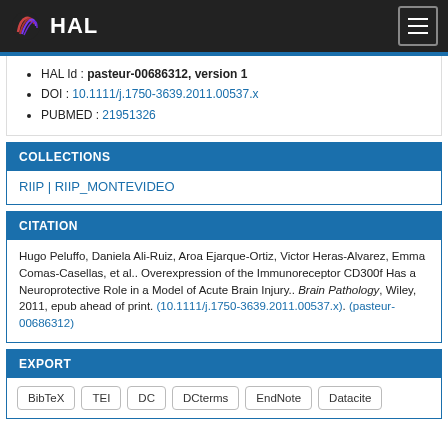HAL
HAL Id : pasteur-00686312, version 1
DOI : 10.1111/j.1750-3639.2011.00537.x
PUBMED : 21951326
COLLECTIONS
RIIP | RIIP_MONTEVIDEO
CITATION
Hugo Peluffo, Daniela Ali-Ruiz, Aroa Ejarque-Ortiz, Victor Heras-Alvarez, Emma Comas-Casellas, et al.. Overexpression of the Immunoreceptor CD300f Has a Neuroprotective Role in a Model of Acute Brain Injury.. Brain Pathology, Wiley, 2011, epub ahead of print. (10.1111/j.1750-3639.2011.00537.x). (pasteur-00686312)
EXPORT
BibTeX
TEI
DC
DCterms
EndNote
Datacite